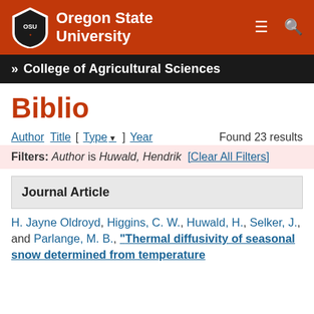Oregon State University — College of Agricultural Sciences
Biblio
Author Title [ Type▾ ] Year   Found 23 results
Filters: Author is Huwald, Hendrik [Clear All Filters]
Journal Article
H. Jayne Oldroyd, Higgins, C. W., Huwald, H., Selker, J., and Parlange, M. B., "Thermal diffusivity of seasonal snow determined from temperature